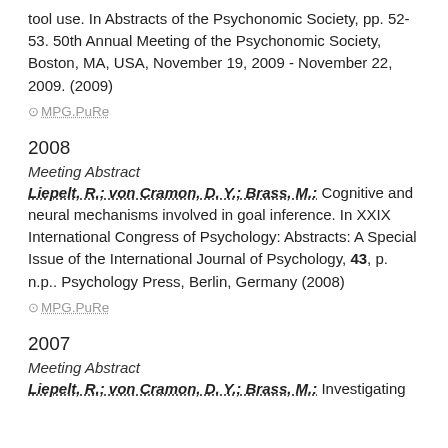tool use. In Abstracts of the Psychonomic Society, pp. 52-53. 50th Annual Meeting of the Psychonomic Society, Boston, MA, USA, November 19, 2009 - November 22, 2009. (2009)
⊙ MPG.PuRe
2008
Meeting Abstract
Liepelt, R.; von Cramon, D. Y.; Brass, M.: Cognitive and neural mechanisms involved in goal inference. In XXIX International Congress of Psychology: Abstracts: A Special Issue of the International Journal of Psychology, 43, p. n.p.. Psychology Press, Berlin, Germany (2008)
⊙ MPG.PuRe
2007
Meeting Abstract
Liepelt, R.; von Cramon, D. Y.; Brass, M.: Investigating